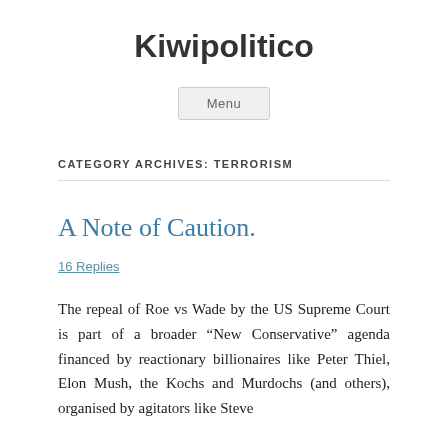Kiwipolitico
Menu
CATEGORY ARCHIVES: TERRORISM
A Note of Caution.
16 Replies
The repeal of Roe vs Wade by the US Supreme Court is part of a broader “New Conservative” agenda financed by reactionary billionaires like Peter Thiel, Elon Mush, the Kochs and Murdochs (and others), organised by agitators like Steve